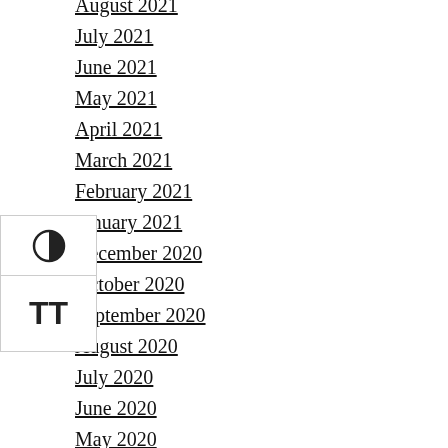August 2021
July 2021
June 2021
May 2021
April 2021
March 2021
February 2021
January 2021
December 2020
October 2020
September 2020
August 2020
July 2020
June 2020
May 2020
April 2020
February 2020
January 2020